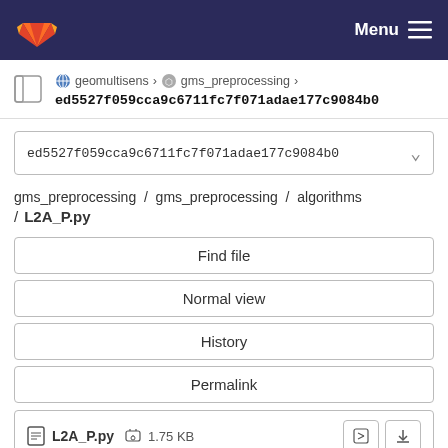GitLab navigation bar with Menu
geomultisens > gms_preprocessing > ed5527f059cca9c6711fc7f071adae177c9084b0
ed5527f059cca9c6711fc7f071adae177c9084b0
gms_preprocessing / gms_preprocessing / algorithms / L2A_P.py
Find file
Normal view
History
Permalink
L2A_P.py  1.75 KB